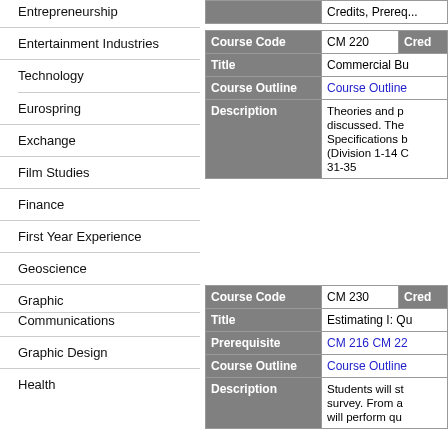Entrepreneurship
Entertainment Industries
Technology
Eurospring
Exchange
Film Studies
Finance
First Year Experience
Geoscience
Graphic Communications
Graphic Design
Health
|  | CM 220 | Credits, Prereq... |
| --- | --- | --- |
| Course Code | CM 220 | Cred... |
| Title | Commercial Bu... |  |
| Course Outline | Course Outline |  |
| Description | Theories and p... discussed. The... Specifications b... (Division 1-14 C... 31-35 |  |
|  | CM 230 | Credits, Prereq... |
| --- | --- | --- |
| Course Code | CM 230 | Cred... |
| Title | Estimating I: Qu... |  |
| Prerequisite | CM 216 CM 22... |  |
| Course Outline | Course Outline |  |
| Description | Students will st... survey. From a... will perform qu... |  |